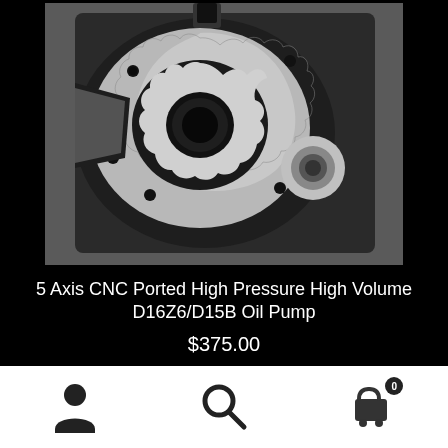[Figure (photo): 5 Axis CNC ported high pressure high volume D16Z6/D15B oil pump photographed on a workbench, showing machined aluminum pump body with gerotor gears and bearing housing]
5 Axis CNC Ported High Pressure High Volume D16Z6/D15B Oil Pump
$375.00
Add to cart